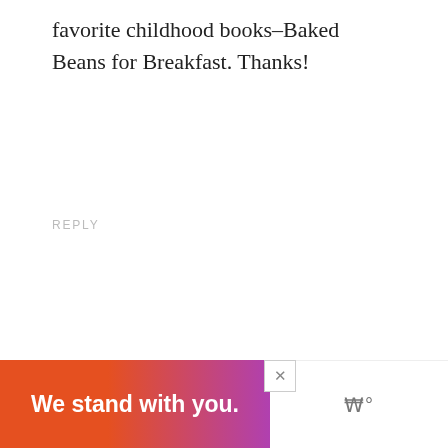favorite childhood books–Baked Beans for Breakfast. Thanks!
REPLY
Sara Holloway
October 17, 2013 at 12:44 pm
I made this with black beans (it's what I had on hand) and used kale instead of spinach but man o man, it turned out great! Thanks fo
[Figure (screenshot): Ad banner reading 'We stand with you.' over orange-to-purple gradient, with close button and logo on right]